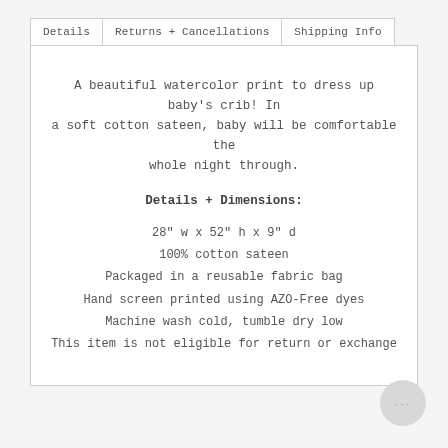Details | Returns + Cancellations | Shipping Info
A beautiful watercolor print to dress up baby's crib! In a soft cotton sateen, baby will be comfortable the whole night through.
Details + Dimensions:
28" w x 52" h x 9" d
100% cotton sateen
Packaged in a reusable fabric bag
Hand screen printed using AZO-Free dyes
Machine wash cold, tumble dry low
This item is not eligible for return or exchange